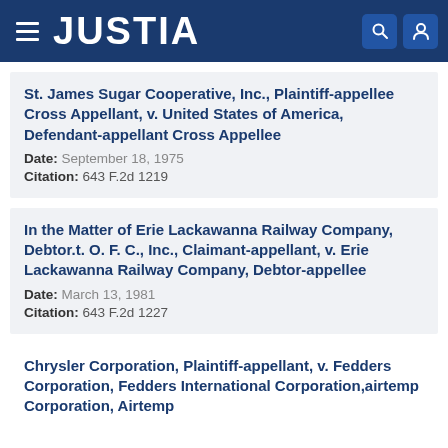JUSTIA
St. James Sugar Cooperative, Inc., Plaintiff-appellee Cross Appellant, v. United States of America, Defendant-appellant Cross Appellee
Date: September 18, 1975
Citation: 643 F.2d 1219
In the Matter of Erie Lackawanna Railway Company, Debtor.t. O. F. C., Inc., Claimant-appellant, v. Erie Lackawanna Railway Company, Debtor-appellee
Date: March 13, 1981
Citation: 643 F.2d 1227
Chrysler Corporation, Plaintiff-appellant, v. Fedders Corporation, Fedders International Corporation,airtemp Corporation, Airtemp